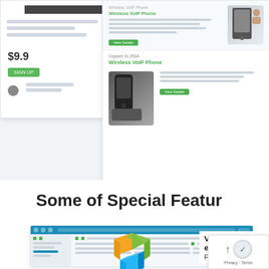[Figure (screenshot): Partial product listing page screenshot showing a phone product with $9.9 price and green button, light blue/grey background]
[Figure (screenshot): Product listing page screenshot showing two Wireless VoIP Phone products (Gigaset SL350A) with images and green labels/buttons]
Some of Special Featur
[Figure (screenshot): Web application screenshot with blue top bar, sidebar with green dots and list items, overlaid with colorful 3D cube logo (orange, green, blue)]
Visua ed
Fully v
[Figure (logo): Google reCAPTCHA badge with Privacy and Terms links]